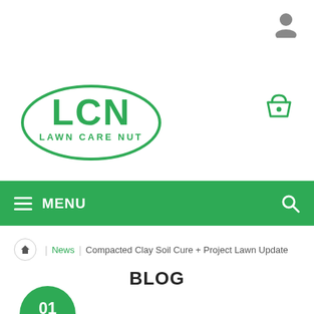[Figure (logo): LCN Lawn Care Nut logo — green oval with bold LCN text and LAWN CARE NUT below]
[Figure (other): User account icon (grey silhouette person) in top right corner]
[Figure (other): Green shopping basket icon in upper right area]
≡ MENU
Home > News > Compacted Clay Soil Cure + Project Lawn Update
BLOG
01 oct